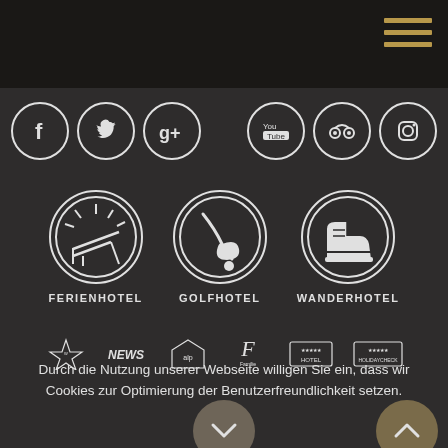[Figure (screenshot): Dark website header with hamburger menu icon (three gold horizontal lines) in top right corner]
[Figure (infographic): Row of six social media icon circles: Facebook, Twitter, Google+, YouTube, TripAdvisor, Instagram]
[Figure (infographic): Three circular icons with labels: FERIENHOTEL (beach/sun), GOLFHOTEL (golf), WANDERHOTEL (hiking boot)]
[Figure (infographic): Row of partner/award logos: Wallis, NEWS, awards logos, hotel stars logos]
Durch die Nutzung unserer Webseite willigen Sie ein, dass wir Cookies zur Optimierung der Benutzerfreundlichkeit setzen.